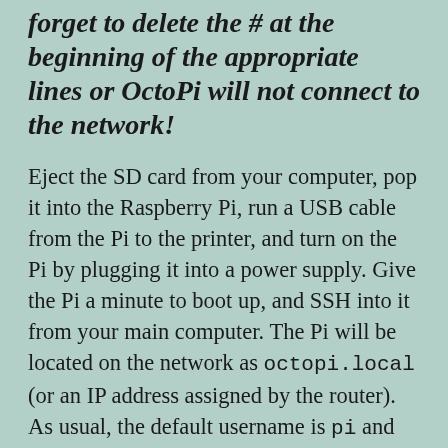forget to delete the # at the beginning of the appropriate lines or OctoPi will not connect to the network!
Eject the SD card from your computer, pop it into the Raspberry Pi, run a USB cable from the Pi to the printer, and turn on the Pi by plugging it into a power supply. Give the Pi a minute to boot up, and SSH into it from your main computer. The Pi will be located on the network as octopi.local (or an IP address assigned by the router). As usual, the default username is pi and the default password is raspberry.